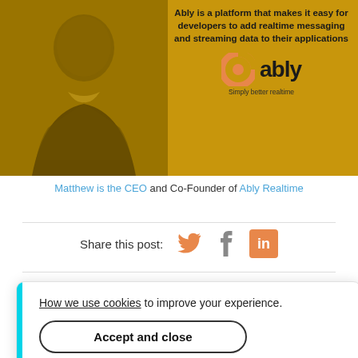[Figure (photo): Promotional banner with a man's photo on golden/yellow background. Text reads: 'Ably is a platform that makes it easy for developers to add realtime messaging and streaming data to their applications'. Ably logo with orange swirl graphic and tagline 'Simply better realtime'.]
Matthew is the CEO and Co-Founder of Ably Realtime
[Figure (infographic): Share this post: with Twitter bird icon (orange), Facebook f icon (grey), LinkedIn 'in' icon (orange square)]
How we use cookies to improve your experience.
Accept and close
dan
sly co-founded Econsultancy, sold in 2012. Love programming